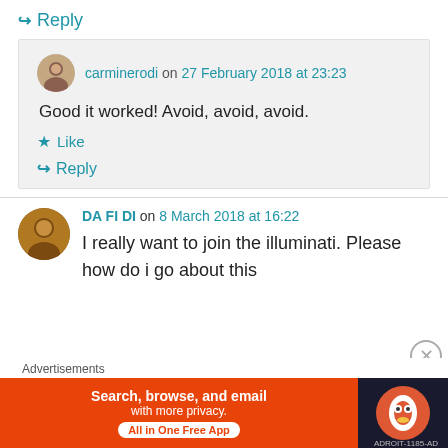↳ Reply
carminerodi on 27 February 2018 at 23:23
Good it worked! Avoid, avoid, avoid.
★ Like
↳ Reply
DA FI DI on 8 March 2018 at 16:22
I really want to join the illuminati. Please how do i go about this
[Figure (screenshot): DuckDuckGo advertisement banner: 'Search, browse, and email with more privacy. All in One Free App' with DuckDuckGo logo on dark background]